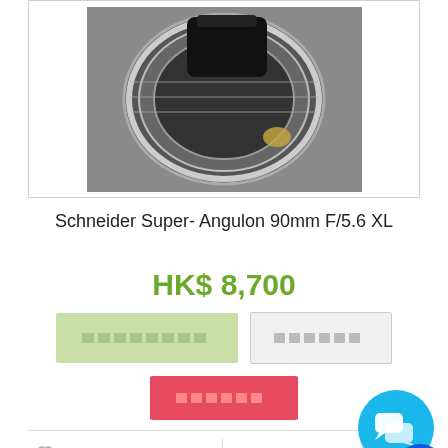[Figure (photo): Product photo of a Schneider Super-Angulon 90mm F/5.6 XL camera lens]
Schneider Super- Angulon 90mm F/5.6 XL
HK$ 8,700
[Figure (screenshot): Two buttons: green-tinted add to cart button and grey compare button with placeholder text blocks]
[Figure (screenshot): Red checkout/buy button with placeholder text]
Add to Wishlist
[Figure (photo): Bottom product image partially visible]